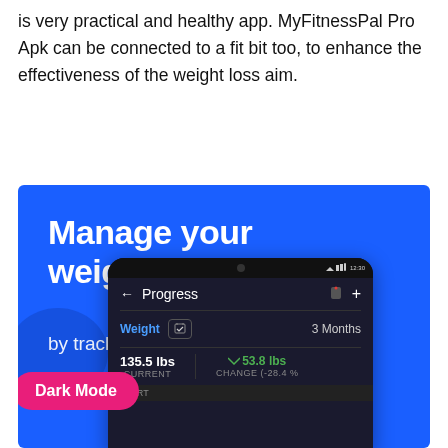is very practical and healthy app. MyFitnessPal Pro Apk can be connected to a fit bit too, to enhance the effectiveness of the weight loss aim.
[Figure (screenshot): MyFitnessPal app screenshot on blue background. Shows 'Manage your weight by tracking it over time.' with a dark-mode phone screen showing Progress tracker with weight 135.5 lbs current and 53.8 lbs change (-28.4%) over 3 Months. A pink 'Dark Mode' badge overlays the bottom left.]